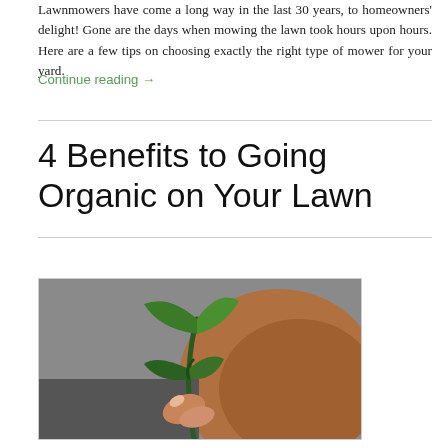Lawnmowers have come a long way in the last 30 years, to homeowners' delight! Gone are the days when mowing the lawn took hours upon hours. Here are a few tips on choosing exactly the right type of mower for your yard.
Continue reading →
4 Benefits to Going Organic on Your Lawn
[Figure (photo): Close-up photo of a small green seedling plant being held by a person's fingers, with a blurred brown and grey background suggesting an organic gardening context.]